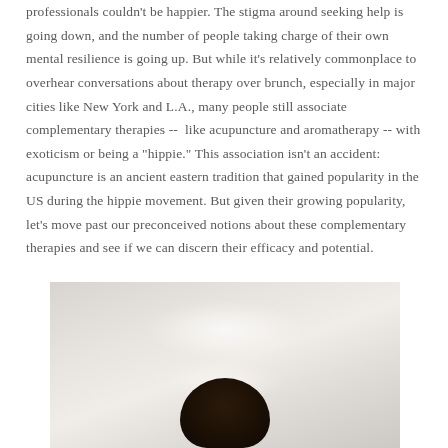professionals couldn't be happier. The stigma around seeking help is going down, and the number of people taking charge of their own mental resilience is going up. But while it's relatively commonplace to overhear conversations about therapy over brunch, especially in major cities like New York and L.A., many people still associate complementary therapies --  like acupuncture and aromatherapy -- with exoticism or being a "hippie." This association isn't an accident: acupuncture is an ancient eastern tradition that gained popularity in the US during the hippie movement. But given their growing popularity, let's move past our preconceived notions about these complementary therapies and see if we can discern their efficacy and potential.
[Figure (photo): A portrait photo of a person with dark hair against a light gray/beige background with subtle lighting highlights.]